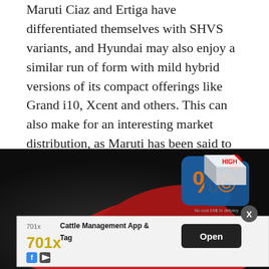Maruti Ciaz and Ertiga have differentiated themselves with SHVS variants, and Hyundai may also enjoy a similar run of form with mild hybrid versions of its compact offerings like Grand i10, Xcent and others. This can also make for an interesting market distribution, as Maruti has been said to have plans for introducing a mild hybrid version of its new Swift in 2018.
[Figure (photo): Front view of a red compact car (possibly Hyundai Grand i10) photographed in a dark studio setting, with an advertisement overlay at the bottom showing a Cattle Management App & Tag ad with 701x branding, and app icons visible in the upper right corner of the image.]